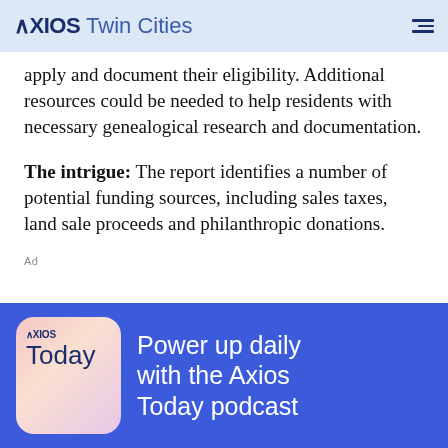AXIOS Twin Cities
apply and document their eligibility. Additional resources could be needed to help residents with necessary genealogical research and documentation.
The intrigue: The report identifies a number of potential funding sources, including sales taxes, land sale proceeds and philanthropic donations.
Ad
[Figure (illustration): Axios Today podcast advertisement banner with blue background, showing the Axios Today app icon on the left and the text 'Power up daily with the Axios Today podcast' on the right in white.]